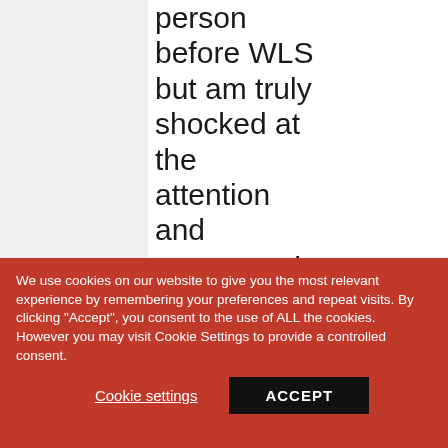person before WLS but am truly shocked at the attention and openness I receive now that I am not so visibly
We use cookies on our website to give you the most relevant experience by remembering your preferences and repeat visits. By clicking "Accept", you consent to the use of ALL the cookies. However you may visit Cookie Settings to provide a controlled consent.
Cookie settings
ACCEPT